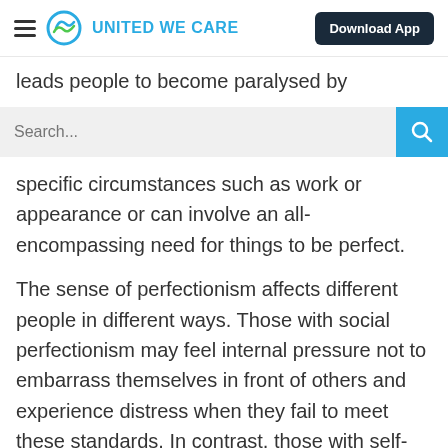United We Care — Download App
leads people to become paralysed by unrealistic
specific circumstances such as work or appearance or can involve an all-encompassing need for things to be perfect.
The sense of perfectionism affects different people in different ways. Those with social perfectionism may feel internal pressure not to embarrass themselves in front of others and experience distress when they fail to meet these standards. In contrast, those with self-oriented perfectionism may emphasise not disappointing their ideals and values and become distressed when they do not live up to their expectations.